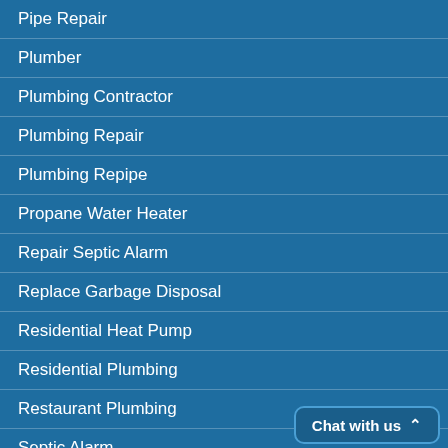Pipe Repair
Plumber
Plumbing Contractor
Plumbing Repair
Plumbing Repipe
Propane Water Heater
Repair Septic Alarm
Replace Garbage Disposal
Residential Heat Pump
Residential Plumbing
Restaurant Plumbing
Septic Alarm
Septic Pumping
Sewage Pump Repair